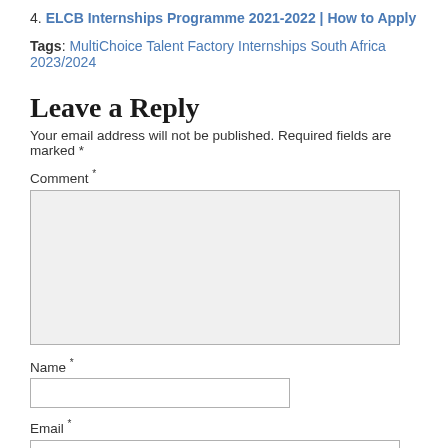4. ELCB Internships Programme 2021-2022 | How to Apply
Tags: MultiChoice Talent Factory Internships South Africa 2023/2024
Leave a Reply
Your email address will not be published. Required fields are marked *
Comment *
Name *
Email *